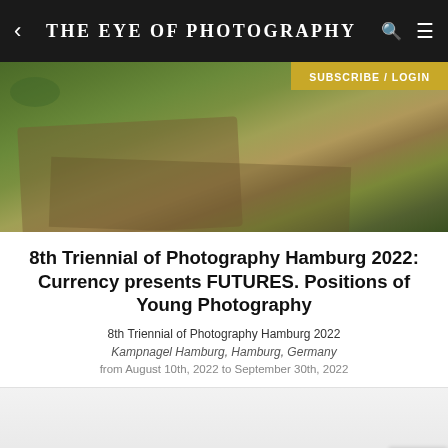THE EYE OF PHOTOGRAPHY
[Figure (photo): Aerial or ground-level view of a grassy field with a dirt path running diagonally]
8th Triennial of Photography Hamburg 2022: Currency presents FUTURES. Positions of Young Photography
8th Triennial of Photography Hamburg 2022
Kampnagel Hamburg, Hamburg, Germany
from August 10th, 2022 to September 30th, 2022
[Figure (photo): White/light gray background with small dark objects near bottom center, partially visible]
SUBSCRIBE / LOGIN